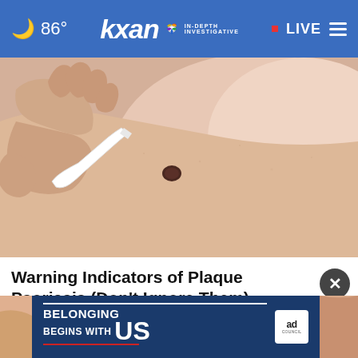86° kxan IN-DEPTH INVESTIGATIVE • LIVE
[Figure (photo): Close-up of a hand holding a white instrument or pen near a dark mole on skin, used to examine a skin lesion]
Warning Indicators of Plaque Psoriasis (Don't Ignore Them)
Plaque
[Figure (infographic): Ad banner reading BELONGING BEGINS WITH US with Ad Council logo, on dark blue background]